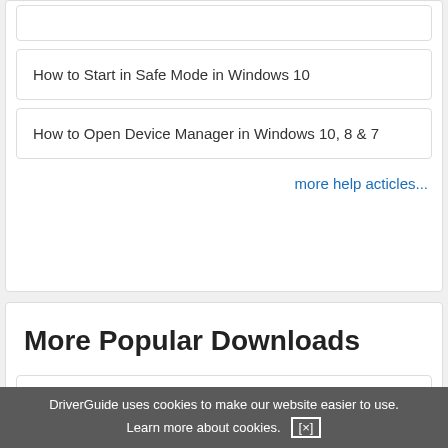How to Start in Safe Mode in Windows 10
How to Open Device Manager in Windows 10, 8 & 7
more help acticles...
More Popular Downloads
CCleaner
Driver Booster Pro
DriverGuide uses cookies to make our website easier to use. Learn more about cookies. [×]